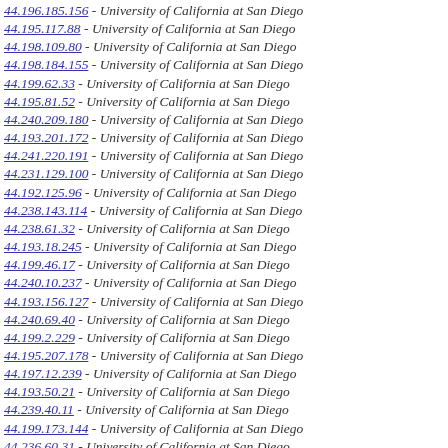44.196.185.156 - University of California at San Diego
44.195.117.88 - University of California at San Diego
44.198.109.80 - University of California at San Diego
44.198.184.155 - University of California at San Diego
44.199.62.33 - University of California at San Diego
44.195.81.52 - University of California at San Diego
44.240.209.180 - University of California at San Diego
44.193.201.172 - University of California at San Diego
44.241.220.191 - University of California at San Diego
44.231.129.100 - University of California at San Diego
44.192.125.96 - University of California at San Diego
44.238.143.114 - University of California at San Diego
44.238.61.32 - University of California at San Diego
44.193.18.245 - University of California at San Diego
44.199.46.17 - University of California at San Diego
44.240.10.237 - University of California at San Diego
44.193.156.127 - University of California at San Diego
44.240.69.40 - University of California at San Diego
44.199.2.229 - University of California at San Diego
44.195.207.178 - University of California at San Diego
44.197.12.239 - University of California at San Diego
44.193.50.21 - University of California at San Diego
44.239.40.11 - University of California at San Diego
44.199.173.144 - University of California at San Diego
44.236.60.31 - University of California at San Diego
44.237.111.82 - University of California at San Diego
44.197.194.165 - University of California at San Diego
44.236.219.190 - University of California at San Diego
44.196.96.67 - University of California at San Diego
44.196.230.201 - University of California at San Diego